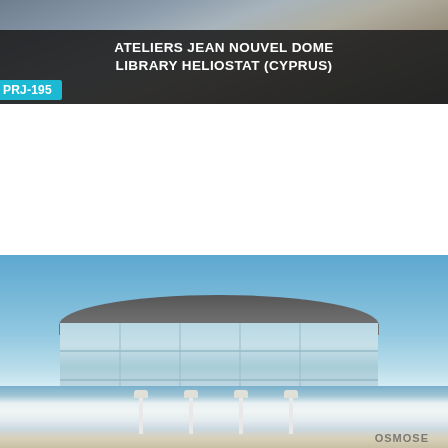[Figure (photo): Architectural photo of Ateliers Jean Nouvel Dome Library Heliostat project in Cyprus, showing construction site]
ATELIERS JEAN NOUVEL DOME LIBRARY HELIOSTAT (CYPRUS)
PRJ-195
[Figure (photo): Photograph of Bank Company Office Tower in Congo, showing a modern cylindrical glass and steel building under blue sky]
BANK COMPANY OFFICE TOWER (CONGO)
PRJ-191
[Figure (photo): Partial view of a third project card showing street lamps and a logo at the bottom]